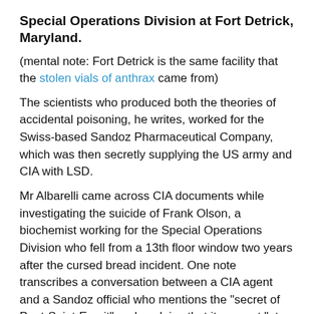Special Operations Division at Fort Detrick, Maryland.
(mental note: Fort Detrick is the same facility that the stolen vials of anthrax came from)
The scientists who produced both the theories of accidental poisoning, he writes, worked for the Swiss-based Sandoz Pharmaceutical Company, which was then secretly supplying the US army and CIA with LSD.
Mr Albarelli came across CIA documents while investigating the suicide of Frank Olson, a biochemist working for the Special Operations Division who fell from a 13th floor window two years after the cursed bread incident. One note transcribes a conversation between a CIA agent and a Sandoz official who mentions the "secret of Pont-Saint-Esprit" and explains that it was not "at all" caused by mould but by diethylamide, the D in LSD.